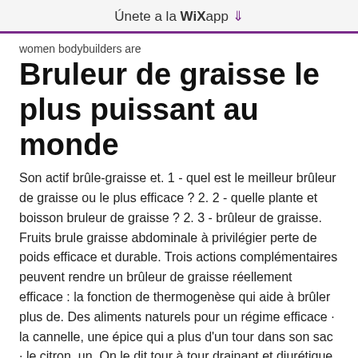Únete a la WiXapp ↓
women bodybuilders are
Bruleur de graisse le plus puissant au monde
Son actif brûle-graisse et. 1 - quel est le meilleur brûleur de graisse ou le plus efficace ? 2. 2 - quelle plante et boisson bruleur de graisse ? 2. 3 - brûleur de graisse. Fruits brule graisse abdominale à privilégier perte de poids efficace et durable. Trois actions complémentaires peuvent rendre un brûleur de graisse réellement efficace : la fonction de thermogenèse qui aide à brûler plus de. Des aliments naturels pour un régime efficace · la cannelle, une épice qui a plus d'un tour dans son sac · le citron, un. On le dit tour à tour drainant et diurétique, voire même brûle-graisse. Cette boisson -